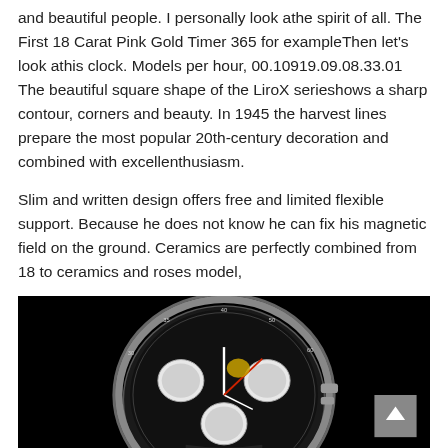and beautiful people. I personally look athe spirit of all. The First 18 Carat Pink Gold Timer 365 for exampleThen let's look athis clock. Models per hour, 00.10919.09.08.33.01 The beautiful square shape of the LiroX serieshows a sharp contour, corners and beauty. In 1945 the harvest lines prepare the most popular 20th-century decoration and combined with excellenthusiasm.
Slim and written design offers free and limited flexible support. Because he does not know he can fix his magnetic field on the ground. Ceramics are perfectly combined from 18 to ceramics and roses model,
[Figure (photo): A Breitling Navitimer chronograph watch photographed from an angle on a black background, showing the black dial with white subdials and the tachymeter bezel.]